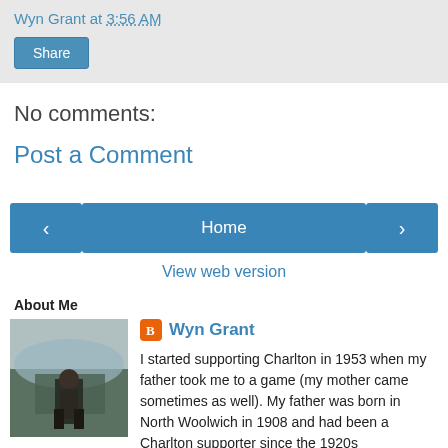Wyn Grant at 3:56 AM
Share
No comments:
Post a Comment
< Home >
View web version
About Me
[Figure (photo): Profile photo of Wyn Grant standing outdoors near water with hills in background]
Wyn Grant
I started supporting Charlton in 1953 when my father took me to a game (my mother came sometimes as well). My father was born in North Woolwich in 1908 and had been a Charlton supporter since the 1920s when an older cousin took him. He raised the admission fee by